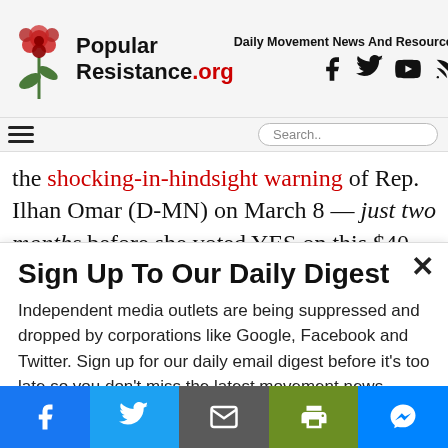Popular Resistance.org — Daily Movement News And Resources
the shocking-in-hindsight warning of Rep. Ilhan Omar (D-MN) on March 8 — just two months before she voted YES on this $40 billion weapons package:
Sign Up To Our Daily Digest
Independent media outlets are being suppressed and dropped by corporations like Google, Facebook and Twitter. Sign up for our daily email digest before it's too late so you don't miss the latest movement news.
Email